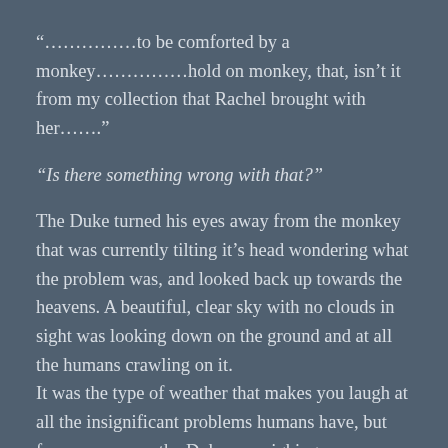“……………to be comforted by a monkey……………hold on monkey, that, isn’t it from my collection that Rachel brought with her…….”
“Is there something wrong with that?”
The Duke turned his eyes away from the monkey that was currently tilting it’s head wondering what the problem was, and looked back up towards the heavens. A beautiful, clear sky with no clouds in sight was looking down on the ground and at all the humans crawling on it.
It was the type of weather that makes you laugh at all the insignificant problems humans have, but for some reason the Duke was sighing.